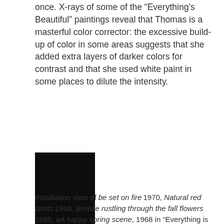once. X-rays of some of the “Everything’s Beautiful” paintings reveal that Thomas is a masterful color corrector: the excessive build-up of color in some areas suggests that she added extra layers of darker colors for contrast and that she used white paint in some places to dilute the intensity.
[Figure (photo): A solid black rectangle representing a painting or artwork, partially visible installation photograph.]
Installation view of be set on fire 1970, Natural red prints 1968, Breeze rustling through the fall flowers 1968, aA happy spring scene, 1968 in “Everything is beautiful”, 2022,